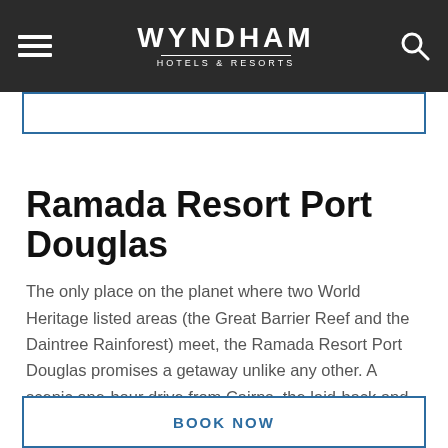WYNDHAM HOTELS & RESORTS
Ramada Resort Port Douglas
The only place on the planet where two World Heritage listed areas (the Great Barrier Reef and the Daintree Rainforest) meet, the Ramada Resort Port Douglas promises a getaway unlike any other. A scenic one-hour drive from Cairns, the laid-back and sophisticated coastal village offers visitors a large selection of exciting tours, cruises, adventure activities and world-class restaurants.
BOOK NOW